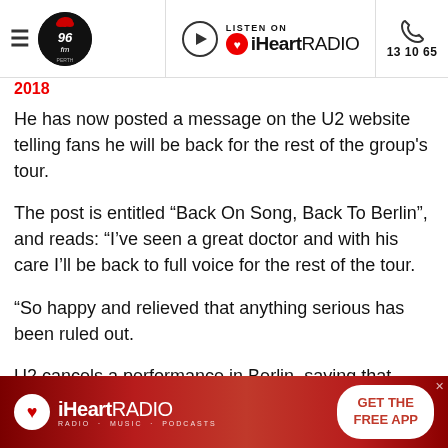96fm Perth | LISTEN ON iHeartRADIO | 13 10 65
He has now posted a message on the U2 website telling fans he will be back for the rest of the group's tour.
The post is entitled “Back On Song, Back To Berlin”, and reads: “I’ve seen a great doctor and with his care I’ll be back to full voice for the rest of the tour.
“So happy and relieved that anything serious has been ruled out.
U2 cancels a performance in Berlin, saying that
[Figure (screenshot): iHeartRADIO advertisement banner with red gradient background, iHeart logo, tagline RADIO · MUSIC · PODCASTS, and GET THE FREE APP button]